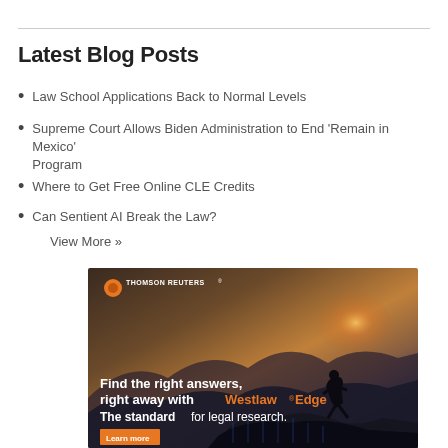Latest Blog Posts
Law School Applications Back to Normal Levels
Supreme Court Allows Biden Administration to End 'Remain in Mexico' Program
Where to Get Free Online CLE Credits
Can Sentient AI Break the Law?
View More »
[Figure (photo): Thomson Reuters advertisement for Westlaw Edge legal research platform, showing a silhouette of a person standing on a mountain peak at sunset with text: 'Find the right answers, right away with Westlaw® Edge. The standard for legal research.']